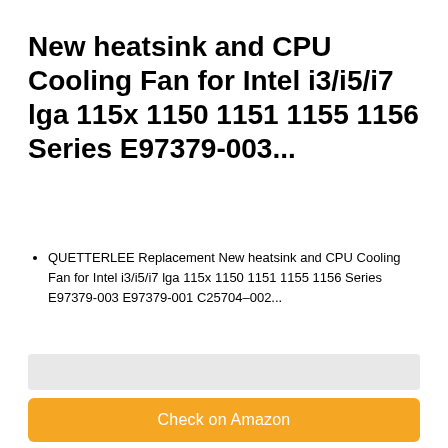New heatsink and CPU Cooling Fan for Intel i3/i5/i7 lga 115x 1150 1151 1155 1156 Series E97379-003...
QUETTERLEE Replacement New heatsink and CPU Cooling Fan for Intel i3/i5/i7 lga 115x 1150 1151 1155 1156 Series E97379-003 E97379-001 C25704–002...
[Figure (other): Gray placeholder bar]
Check on Amazon